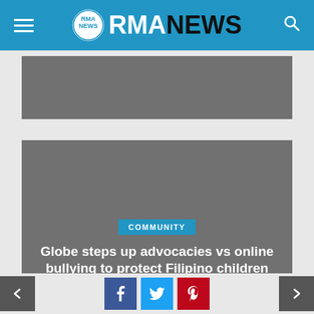RMA NEWS
[Figure (photo): Gray placeholder image at top of page]
[Figure (photo): Article card with gray background, COMMUNITY badge, title 'Globe steps up advocacies vs online bullying to protect Filipino children', date August 24, 2022]